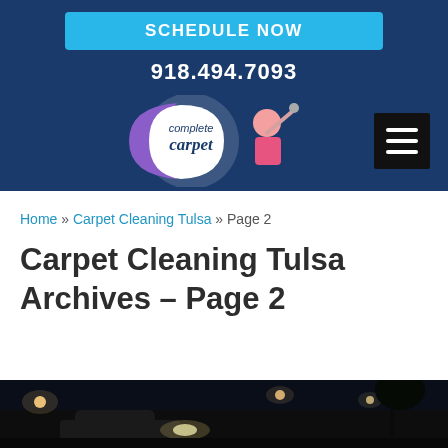SCHEDULE NOW
918.494.7093
[Figure (logo): Complete Carpet logo with crescent moon shape in purple and white, girl with vacuum cleaner]
Home » Carpet Cleaning Tulsa » Page 2
Carpet Cleaning Tulsa Archives – Page 2
[Figure (photo): Night scene photograph — dark outdoor scene with lights visible]